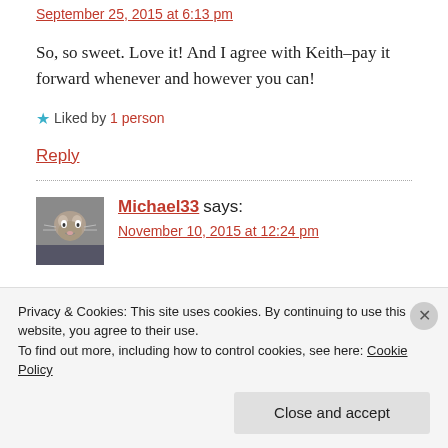September 25, 2015 at 6:13 pm
So, so sweet. Love it! And I agree with Keith–pay it forward whenever and however you can!
★ Liked by 1 person
Reply
Michael33 says:
November 10, 2015 at 12:24 pm
Privacy & Cookies: This site uses cookies. By continuing to use this website, you agree to their use.
To find out more, including how to control cookies, see here: Cookie Policy